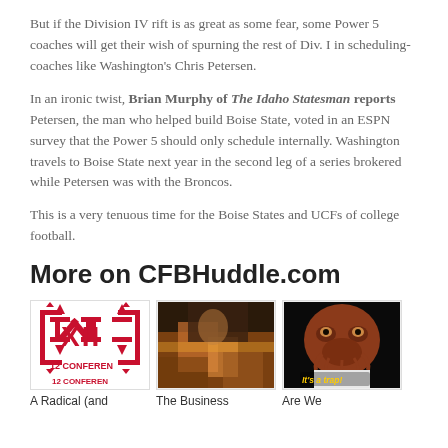But if the Division IV rift is as great as some fear, some Power 5 coaches will get their wish of spurning the rest of Div. I in scheduling-coaches like Washington's Chris Petersen.
In an ironic twist, Brian Murphy of The Idaho Statesman reports Petersen, the man who helped build Boise State, voted in an ESPN survey that the Power 5 should only schedule internally. Washington travels to Boise State next year in the second leg of a series brokered while Petersen was with the Broncos.
This is a very tenuous time for the Boise States and UCFs of college football.
More on CFBHuddle.com
[Figure (photo): Big 12 Conference logo - red stylized XII with arrows]
[Figure (photo): The Business - photo of people at an event with orange lighting]
[Figure (photo): Are We - Admiral Ackbar meme with It's a trap! caption]
A Radical (and
The Business
Are We